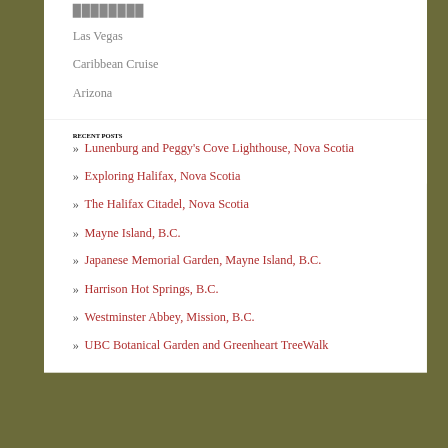Las Vegas
Caribbean Cruise
Arizona
RECENT POSTS
» Lunenburg and Peggy's Cove Lighthouse, Nova Scotia
» Exploring Halifax, Nova Scotia
» The Halifax Citadel, Nova Scotia
» Mayne Island, B.C.
» Japanese Memorial Garden, Mayne Island, B.C.
» Harrison Hot Springs, B.C.
» Westminster Abbey, Mission, B.C.
» UBC Botanical Garden and Greenheart TreeWalk